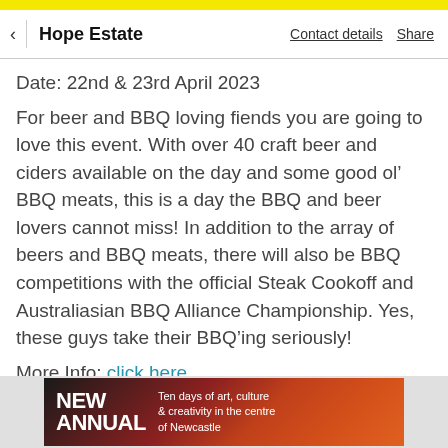Hope Estate   Contact details   Share
Date: 22nd & 23rd April 2023
For beer and BBQ loving fiends you are going to love this event. With over 40 craft beer and ciders available on the day and some good ol’ BBQ meats, this is a day the BBQ and beer lovers cannot miss! In addition to the array of beers and BBQ meats, there will also be BBQ competitions with the official Steak Cookoff and Australiasian BBQ Alliance Championship. Yes, these guys take their BBQ’ing seriously!
More Info: click here
[Figure (photo): Advertisement banner showing 'NEW ANNUAL' text with red/dark background and text 'Ten days of art, culture & creativity in the centre of Newcastle']